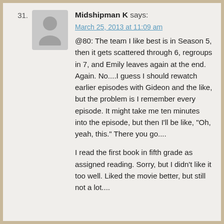31. Midshipman K says:
March 25, 2013 at 11:09 am
@80: The team I like best is in Season 5, then it gets scattered through 6, regroups in 7, and Emily leaves again at the end. Again. No....I guess I should rewatch earlier episodes with Gideon and the like, but the problem is I remember every episode. It might take me ten minutes into the episode, but then I'll be like, "Oh, yeah, this." There you go....
I read the first book in fifth grade as assigned reading. Sorry, but I didn't like it too well. Liked the movie better, but still not a lot....